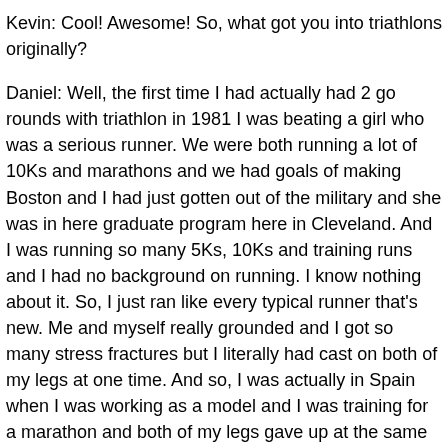Kevin: Cool! Awesome! So, what got you into triathlons originally?
Daniel: Well, the first time I had actually had 2 go rounds with triathlon in 1981 I was beating a girl who was a serious runner. We were both running a lot of 10Ks and marathons and we had goals of making Boston and I had just gotten out of the military and she was in here graduate program here in Cleveland. And I was running so many 5Ks, 10Ks and training runs and I had no background on running. I know nothing about it. So, I just ran like every typical runner that's new. Me and myself really grounded and I got so many stress fractures but I literally had cast on both of my legs at one time. And so, I was actually in Spain when I was working as a model and I was training for a marathon and both of my legs gave up at the same time and the coach there who I happen to know through her. She was also a triathlete, she showed that to me and it gave me a good idea...